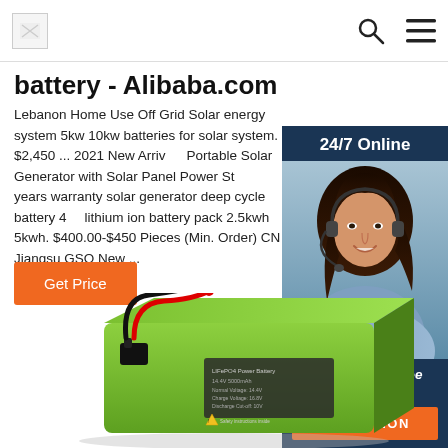battery - Alibaba.com
battery - Alibaba.com
Lebanon Home Use Off Grid Solar energy system 5kw 10kw batteries for solar system. $2,450 ... 2021 New Arrivals Portable Solar Generator with Solar Panel Power Station 5 years warranty solar generator deep cycle battery 48v lithium ion battery pack 2.5kwh 5kwh. $400.00-$450 ... Pieces (Min. Order) CN Jiangsu GSO New ...
[Figure (photo): Chat widget showing a woman with headset, 24/7 Online text, Click here for free chat! and QUOTATION button on dark navy background]
[Figure (photo): Green lithium ion battery pack product photo with red and black wires and a label on the front]
Get Price